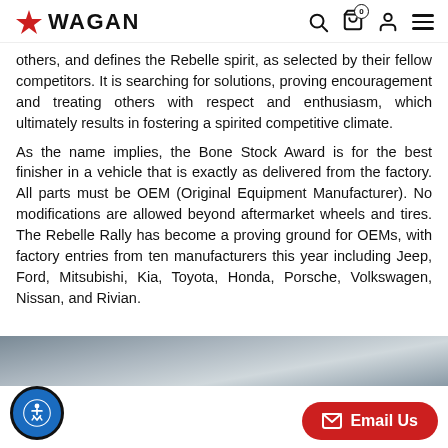WAGAN
others, and defines the Rebelle spirit, as selected by their fellow competitors. It is searching for solutions, proving encouragement and treating others with respect and enthusiasm, which ultimately results in fostering a spirited competitive climate.
As the name implies, the Bone Stock Award is for the best finisher in a vehicle that is exactly as delivered from the factory. All parts must be OEM (Original Equipment Manufacturer). No modifications are allowed beyond aftermarket wheels and tires. The Rebelle Rally has become a proving ground for OEMs, with factory entries from ten manufacturers this year including Jeep, Ford, Mitsubishi, Kia, Toyota, Honda, Porsche, Volkswagen, Nissan, and Rivian.
[Figure (photo): Partial photo of a vehicle, visible at the bottom of the page]